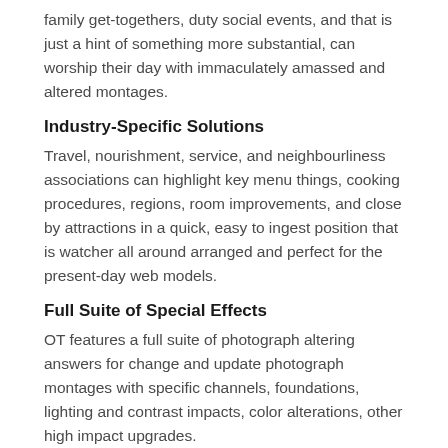family get-togethers, duty social events, and that is just a hint of something more substantial, can worship their day with immaculately amassed and altered montages.
Industry-Specific Solutions
Travel, nourishment, service, and neighbourliness associations can highlight key menu things, cooking procedures, regions, room improvements, and close by attractions in a quick, easy to ingest position that is watcher all around arranged and perfect for the present-day web models.
Full Suite of Special Effects
OT features a full suite of photograph altering answers for change and update photograph montages with specific channels, foundations, lighting and contrast impacts, color alterations, other high impact upgrades.